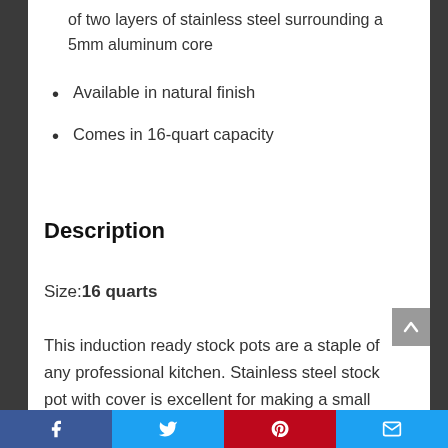of two layers of stainless steel surrounding a 5mm aluminum core
Available in natural finish
Comes in 16-quart capacity
Description
Size: 16 quarts
This induction ready stock pots are a staple of any professional kitchen. Stainless steel stock pot with cover is excellent for making a small batch of your restaurant's signature